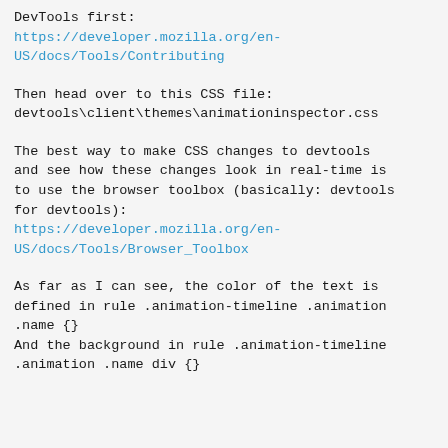DevTools first:
https://developer.mozilla.org/en-US/docs/Tools/Contributing
Then head over to this CSS file:
devtools\client\themes\animationinspector.css
The best way to make CSS changes to devtools and see how these changes look in real-time is to use the browser toolbox (basically: devtools for devtools):
https://developer.mozilla.org/en-US/docs/Tools/Browser_Toolbox
As far as I can see, the color of the text is defined in rule .animation-timeline .animation .name {}
And the background in rule .animation-timeline .animation .name div {}